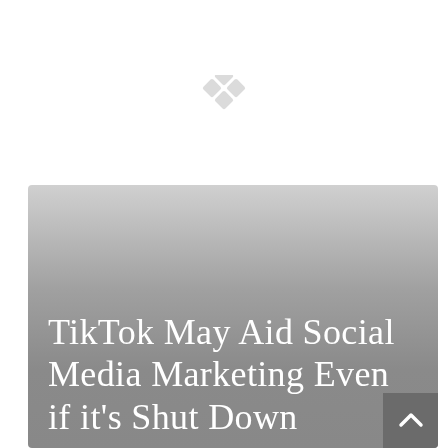[Figure (logo): Diamond-shaped four-square grid logo in light gray, centered near top of page]
TikTok May Aid Social Media Marketing Even if it's Shut Down